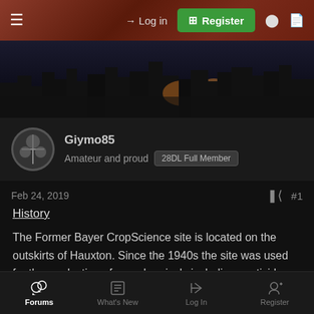≡  → Log in  ⊞ Register
[Figure (photo): Dark night cityscape banner photo with orange city lights in background]
Giymo85
Amateur and proud  28DL Full Member
Feb 24, 2019   #1
History
The Former Bayer CropScience site is located on the outskirts of Hauxton. Since the 1940s the site was used for the production of agrochemicals including pesticides and herbicides. The majority of the site was demolished in 2010, having been sold off for development purposes.
Forums   What's New   Log In   Register